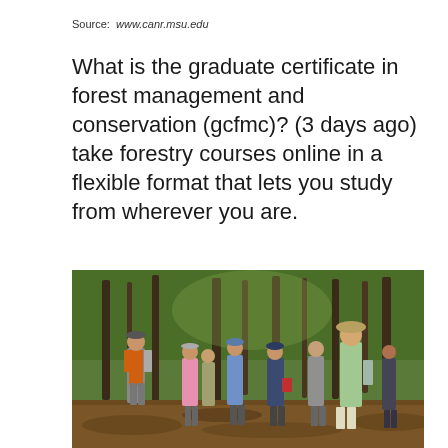Source: www.canr.msu.edu
What is the graduate certificate in forest management and conservation (gcfmc)? (3 days ago) take forestry courses online in a flexible format that lets you study from wherever you are.
[Figure (photo): A group of people standing in a forest clearing, listening to a presenter wearing an orange vest. The scene shows a forest management or conservation field session with approximately 8-10 participants.]